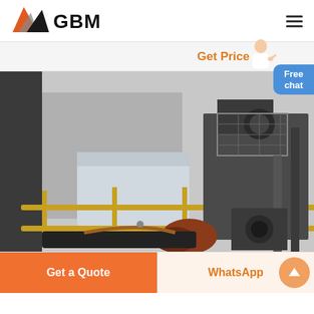GBM
Get Price
[Figure (photo): Industrial machinery photo showing a conveyor belt or mining/processing equipment with yellow safety rails, dark metal structures, and a rotating drum/motor component in an industrial facility.]
Free chat
Get a Quote
WhatsApp